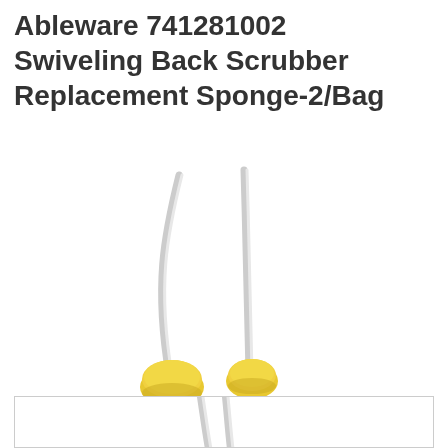Ableware 741281002 Swiveling Back Scrubber Replacement Sponge-2/Bag
[Figure (photo): Two back scrubber replacement sponges with long flexible white/clear handles and round yellow sponge heads at the bottom, shown on a white background.]
[Figure (photo): Partial view of the same back scrubber replacement sponges, cropped, showing the handles, at the bottom of the page inside a bordered box.]